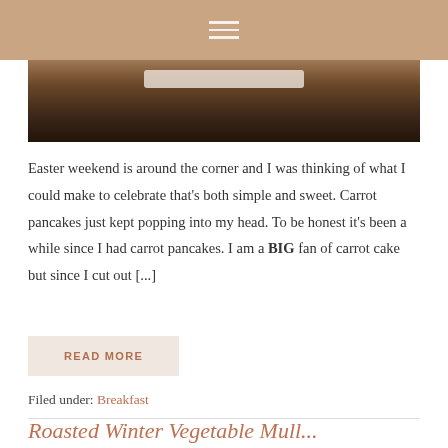Navigation menu icon
[Figure (photo): Close-up food photo showing a plate or bowl on a wooden surface, partially visible at top of content area]
Easter weekend is around the corner and I was thinking of what I could make to celebrate that's both simple and sweet. Carrot pancakes just kept popping into my head. To be honest it's been a while since I had carrot pancakes. I am a BIG fan of carrot cake but since I cut out [...]
READ MORE
Filed under: Breakfast
Roasted Winter Vegetable Mull...